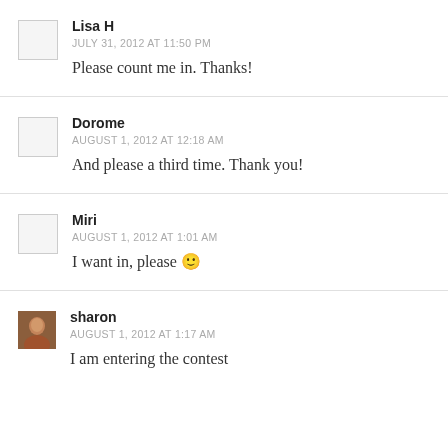Lisa H
JULY 31, 2012 AT 11:50 PM
Please count me in. Thanks!
Dorome
AUGUST 1, 2012 AT 12:18 AM
And please a third time. Thank you!
Miri
AUGUST 1, 2012 AT 1:01 AM
I want in, please 🙂
sharon
AUGUST 1, 2012 AT 1:17 AM
I am entering the contest